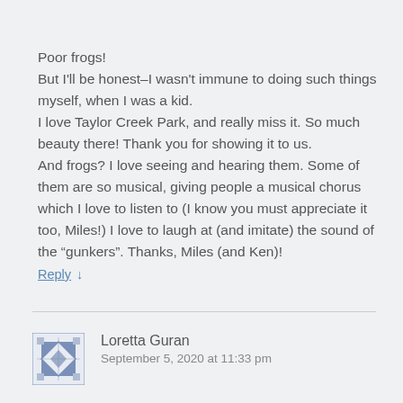Poor frogs!
But I'll be honest–I wasn't immune to doing such things myself, when I was a kid.
I love Taylor Creek Park, and really miss it. So much beauty there! Thank you for showing it to us.
And frogs? I love seeing and hearing them. Some of them are so musical, giving people a musical chorus which I love to listen to (I know you must appreciate it too, Miles!) I love to laugh at (and imitate) the sound of the “gunkers”. Thanks, Miles (and Ken)!
Reply ↓
Loretta Guran
September 5, 2020 at 11:33 pm